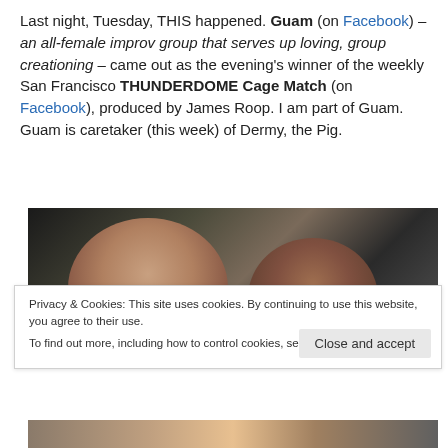Last night, Tuesday, THIS happened. Guam (on Facebook) – an all-female improv group that serves up loving, group creationing – came out as the evening's winner of the weekly San Francisco THUNDERDOME Cage Match (on Facebook), produced by James Roop. I am part of Guam. Guam is caretaker (this week) of Dermy, the Pig.
[Figure (photo): Two women posing for a selfie-style photo; one woman on the left with light skin and dark hair smiling broadly, another woman on the right with darker skin partially visible]
Privacy & Cookies: This site uses cookies. By continuing to use this website, you agree to their use.
To find out more, including how to control cookies, see here: Cookie Policy
Close and accept
[Figure (photo): Bottom strip showing another photo partially visible]